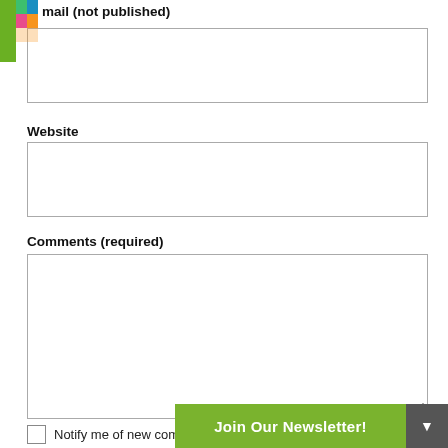[Figure (logo): Colorful logo icon (green/blue/multi-colored) in top-left corner]
mail (not published)
Email input field (not published)
Website
Website input field
Comments (required)
Comments textarea field
Notify me of new comments to this post by email
Join Our Newsletter!